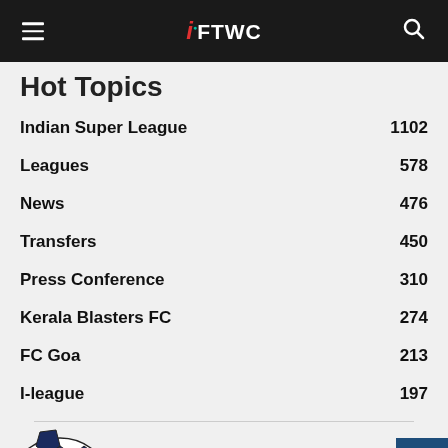IFTWC
Hot Topics
Indian Super League 1102
Leagues 578
News 476
Transfers 450
Press Conference 310
Kerala Blasters FC 274
FC Goa 213
I-league 197
[Figure (illustration): Soccer ball illustration partially visible at bottom left]